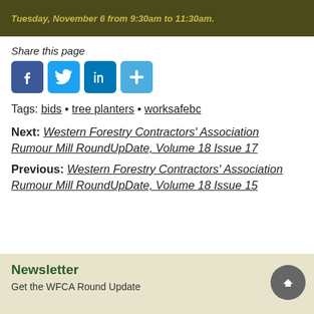Tuesday, November 6 from 9:30am to 11:30am.
Share this page
[Figure (other): Social sharing icons: Facebook, Twitter, LinkedIn, and a share/more button]
Tags: bids • tree planters • worksafebc
Next: Western Forestry Contractors' Association Rumour Mill RoundUpDate, Volume 18 Issue 17
Previous: Western Forestry Contractors' Association Rumour Mill RoundUpDate, Volume 18 Issue 15
Newsletter
Get the WFCA Round Update